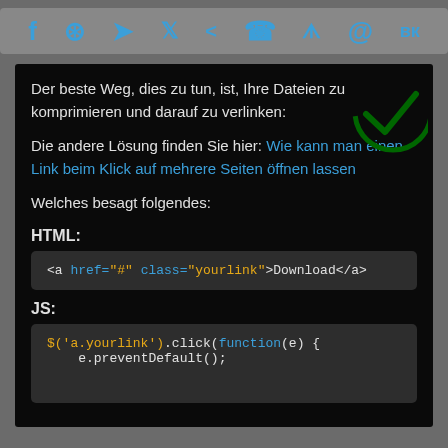[Figure (infographic): Social media share icons bar: Facebook, WhatsApp, Telegram, Twitter, Share, Phone, Reddit, Email, VK — all in blue on grey background]
Der beste Weg, dies zu tun, ist, Ihre Dateien zu komprimieren und darauf zu verlinken:
Die andere Lösung finden Sie hier: Wie kann man einen Link beim Klick auf mehrere Seiten öffnen lassen
Welches besagt folgendes:
HTML:
<a href="#" class="yourlink">Download</a>
JS:
$('a.yourlink').click(function(e) {
    e.preventDefault();